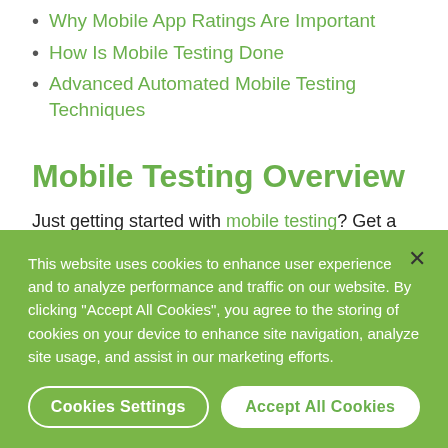Why Mobile App Ratings Are Important
How Is Mobile Testing Done
Advanced Automated Mobile Testing Techniques
Mobile Testing Overview
Just getting started with mobile testing? Get a
This website uses cookies to enhance user experience and to analyze performance and traffic on our website. By clicking “Accept All Cookies”, you agree to the storing of cookies on your device to enhance site navigation, analyze site usage, and assist in our marketing efforts.
Cookies Settings
Accept All Cookies